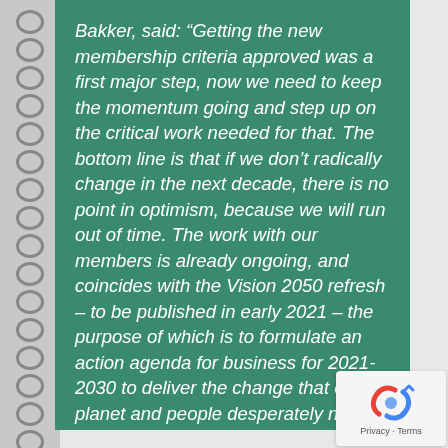Bakker, said: “Getting the new membership criteria approved was a first major step, now we need to keep the momentum going and step up on the critical work needed for that. The bottom line is that if we don’t radically change in the next decade, there is no point in optimism, because we will run out of time. The work with our members is already ongoing, and coincides with the Vision 2050 refresh – to be published in early 2021 – the purpose of which is to formulate an action agenda for business for 2021-2030 to deliver the change that our planet and people desperately need.”